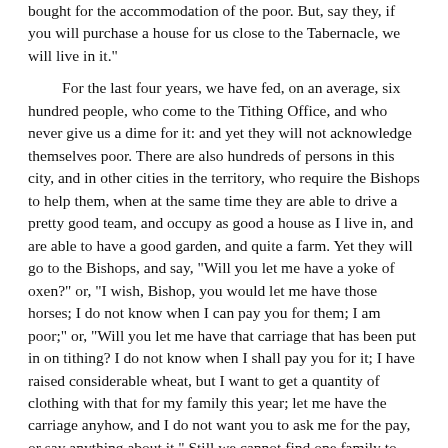bought for the accommodation of the poor. But, say they, if you will purchase a house for us close to the Tabernacle, we will live in it."

For the last four years, we have fed, on an average, six hundred people, who come to the Tithing Office, and who never give us a dime for it: and yet they will not acknowledge themselves poor. There are also hundreds of persons in this city, and in other cities in the territory, who require the Bishops to help them, when at the same time they are able to drive a pretty good team, and occupy as good a house as I live in, and are able to have a good garden, and quite a farm. Yet they will go to the Bishops, and say, "Will you let me have a yoke of oxen?" or, "I wish, Bishop, you would let me have those horses; I do not know when I can pay you for them; I am poor;" or, "Will you let me have that carriage that has been put in on tithing? I do not know when I shall pay you for it; I have raised considerable wheat, but I want to get a quantity of clothing with that for my family this year; let me have the carriage anyhow, and I do not want you to ask me for the pay, or say anything about it." Still we cannot find one family to acknowledge they are sustained by the Church, and own the name of being poor—who cannot sustain themselves. We have the proof on hand for this.